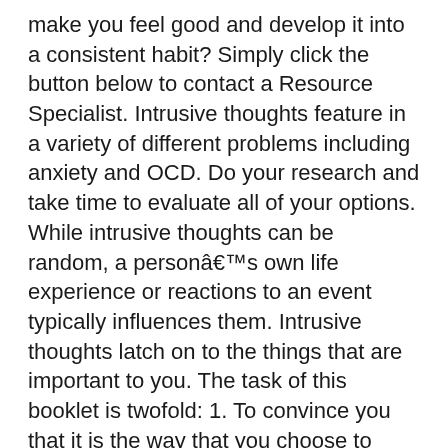make you feel good and develop it into a consistent habit? Simply click the button below to contact a Resource Specialist. Intrusive thoughts feature in a variety of different problems including anxiety and OCD. Do your research and take time to evaluate all of your options. While intrusive thoughts can be random, a personaâs own life experience or reactions to an event typically influences them. Intrusive thoughts latch on to the things that are important to you. The task of this booklet is twofold: 1. To convince you that it is the way that you choose to respond to your intrusive thoughts that will determine … Intrusive thoughts and flashbacks can just show up without a moment's notice, affecting your ability to function. Course Hero is not sponsored or endorsed by any college or university. Posted Oct 20, 2014 Managing Intrusive.pdf - Managing Unwanted Intrusive Thoughts In Obsessive Compulsive